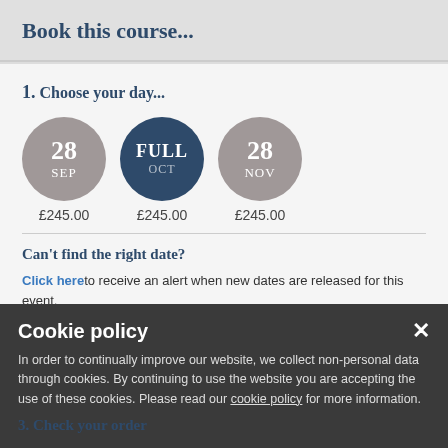Book this course...
1. Choose your day...
[Figure (infographic): Three circular date selectors: 28 SEP (£245.00), a circle showing FULL / OCT (£245.00), and 28 NOV (£245.00)]
£245.00   £245.00   £245.00
Can't find the right date?
Click here to receive an alert when new dates are released for this event.
2. How many people attending?
3. Check your order
Cookie policy
In order to continually improve our website, we collect non-personal data through cookies. By continuing to use the website you are accepting the use of these cookies. Please read our cookie policy for more information.